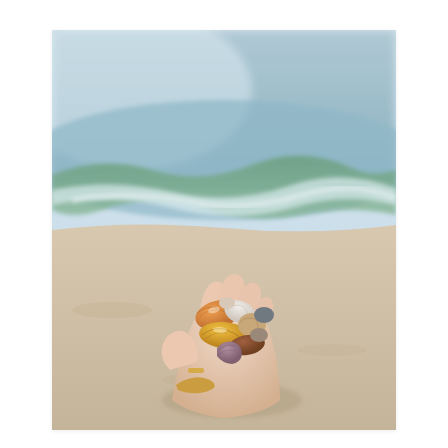[Figure (photo): A hand holding a collection of colorful seashells on a beach, with ocean waves and sandy shore in the background. The shells are various shades of orange, tan, brown, white, and purple. The person wears a gold ring and bracelet.]